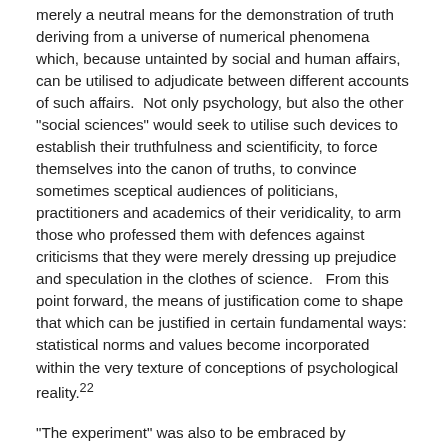merely a neutral means for the demonstration of truth deriving from a universe of numerical phenomena which, because untainted by social and human affairs, can be utilised to adjudicate between different accounts of such affairs.  Not only psychology, but also the other "social sciences" would seek to utilise such devices to establish their truthfulness and scientificity, to force themselves into the canon of truths, to convince sometimes sceptical audiences of politicians, practitioners and academics of their veridicality, to arm those who professed them with defences against criticisms that they were merely dressing up prejudice and speculation in the clothes of science.   From this point forward, the means of justification come to shape that which can be justified in certain fundamental ways: statistical norms and values become incorporated within the very texture of conceptions of psychological reality.²²
"The experiment" was also to be embraced by psychology as a means of disciplinizing itself, of lashing together the various constituencies of practitioners, journal editors, funding bodies, fellow academics and university administrators into the alliances necessary to force itself into the apparatus of truth.  The interminable debate over the relations between the psychological "sciences" and the "natural sciences" is better understood if it is removed from the realm of philosophy and re-located into another frame of analysis.²³  A scientific possibility is